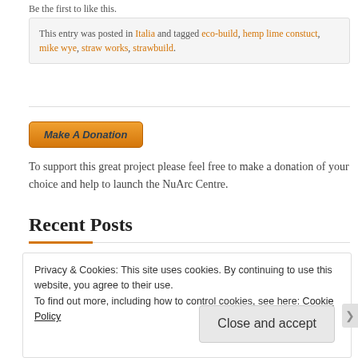Be the first to like this.
This entry was posted in Italia and tagged eco-build, hemp lime constuct, mike wye, straw works, strawbuild.
[Figure (other): Make A Donation button (orange gradient button with italic bold text)]
To support this great project please feel free to make a donation of your choice and help to launch the NuArc Centre.
Recent Posts
Privacy & Cookies: This site uses cookies. By continuing to use this website, you agree to their use.
To find out more, including how to control cookies, see here: Cookie Policy
Close and accept